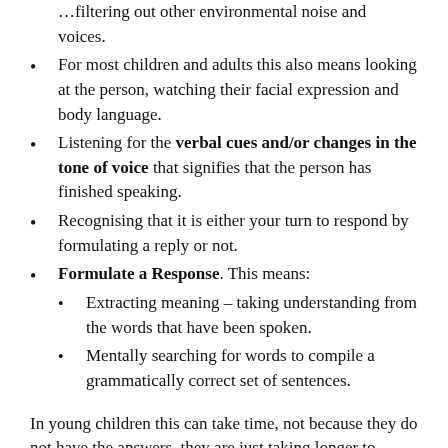…filtering out other environmental noise and voices.
For most children and adults this also means looking at the person, watching their facial expression and body language.
Listening for the verbal cues and/or changes in the tone of voice that signifies that the person has finished speaking.
Recognising that it is either your turn to respond by formulating a reply or not.
Formulate a Response. This means:
Extracting meaning – taking understanding from the words that have been spoken.
Mentally searching for words to compile a grammatically correct set of sentences.
In young children this can take time, not because they do not have the answers, they are just taking longer to…